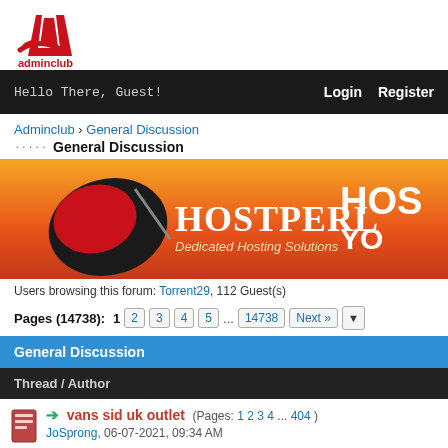[Figure (logo): Adminclub logo with red letter A and text 'adminclub']
Hello There, Guest!  Login  Register
Adminclub › General Discussion
General Discussion
[Figure (photo): Hostperl Dedicated Hosting Solutions banner ad with orange/red background]
Users browsing this forum: Torrent29, 112 Guest(s)
Pages (14738): 1  2  3  4  5  ...  14738  Next »
General Discussion
Thread / Author
vans sid uk outlet (Pages: 1 2 3 4 ... 404 )
JoSprong, 06-07-2021, 09:34 AM